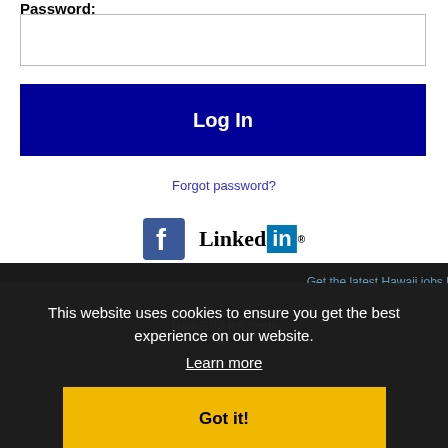Password:
[Figure (screenshot): Password input text field, empty, with grey border]
[Figure (screenshot): Log In button, dark navy blue with white bold text]
Forgot password?
[Figure (logo): Facebook logo icon (blue 'f' on blue background) and LinkedIn logo (black 'Linked' text followed by 'in' in white on blue box with registered trademark symbol)]
Get the latest Hawaii jobs by following @recnetHI on Twitter!
Maui RSS job feeds
This website uses cookies to ensure you get the best experience on our website.
Learn more
Got it!